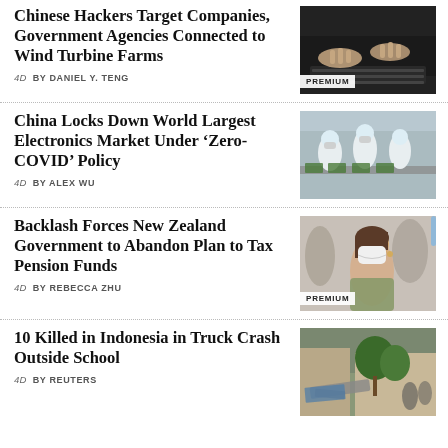Chinese Hackers Target Companies, Government Agencies Connected to Wind Turbine Farms
4D  BY DANIEL Y. TENG
[Figure (photo): Hands typing on a laptop keyboard, dark background]
China Locks Down World Largest Electronics Market Under ‘Zero-COVID’ Policy
4D  BY ALEX WU
[Figure (photo): Workers in white hazmat suits on electronics assembly line]
Backlash Forces New Zealand Government to Abandon Plan to Tax Pension Funds
4D  BY REBECCA ZHU
[Figure (photo): Woman wearing white face mask in a crowd]
10 Killed in Indonesia in Truck Crash Outside School
4D  BY REUTERS
[Figure (photo): Crash scene with debris and trees outside school]